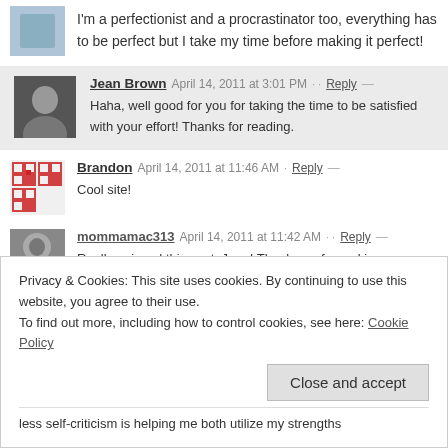I'm a perfectionist and a procrastinator too, everything has to be perfect but I take my time before making it perfect!
Jean Brown  April 14, 2011 at 3:01 PM  ··  Reply  —
Haha, well good for you for taking the time to be satisfied with your effort! Thanks for reading.
Brandon  April 14, 2011 at 11:46 AM  ·  Reply  —
Cool site!
mommamac313  April 14, 2011 at 11:42 AM  ··  Reply  —
Really enjoyed this post, Jean! Thank you for making me realize it's
Privacy & Cookies: This site uses cookies. By continuing to use this website, you agree to their use.
To find out more, including how to control cookies, see here: Cookie Policy
Close and accept
less self-criticism is helping me both utilize my strengths